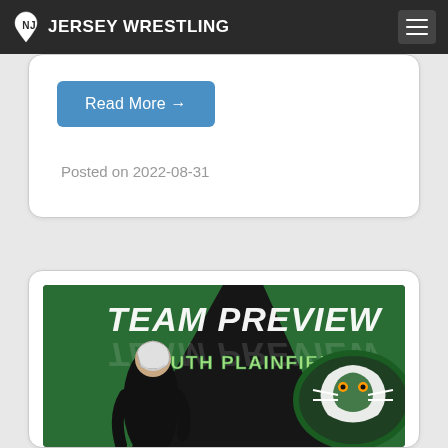JERSEY WRESTLING
Read More →
Posted on 2022-08-31
[Figure (photo): Team Preview South Plainfield promotional graphic featuring a wrestler in a black singlet and headgear on the left, and the South Plainfield Tigers mascot logo on the right, with green geometric shapes on dark background]